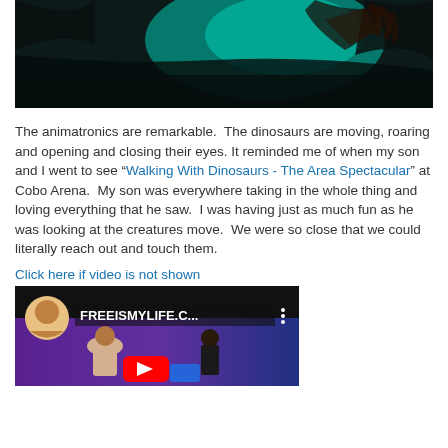[Figure (photo): Dark image showing hands near a glowing teal/turquoise light, likely animatronic dinosaur at a show]
The animatronics are remarkable.  The dinosaurs are moving, roaring and opening and closing their eyes. It reminded me of when my son and I went to see "Walking With Dinosaurs - The Area Spectacular" at Cobo Arena.  My son was everywhere taking in the whole thing and loving everything that he saw.  I was having just as much fun as he was looking at the creatures move.  We were so close that we could literally reach out and touch them.
Click here if video is not shown
[Figure (screenshot): YouTube video thumbnail showing FREEISMYLIFE.C... channel with two people on stage, a YouTube play button overlay visible]